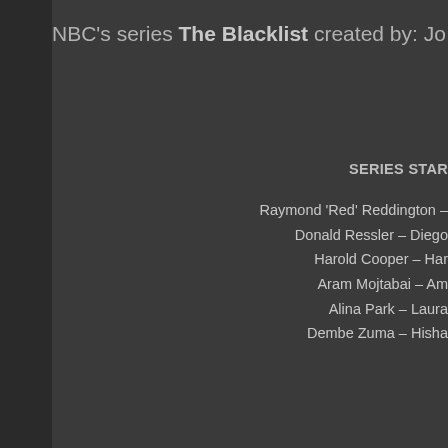NBC's series The Blacklist created by: Jo
SERIES STAR
Raymond 'Red' Reddington –
Donald Ressler – Diego
Harold Cooper – Har
Aram Mojtabai – Am
Alina Park – Laura
Dembe Zuma – Hisha
This is all one “page” meaning you can use your browser's page s without knowing which episode it’s in. I use this a lot. Also includes t find beginning of major songs, search for ♪.
Continue reading • Easy-Search S9 Scripts 🕒